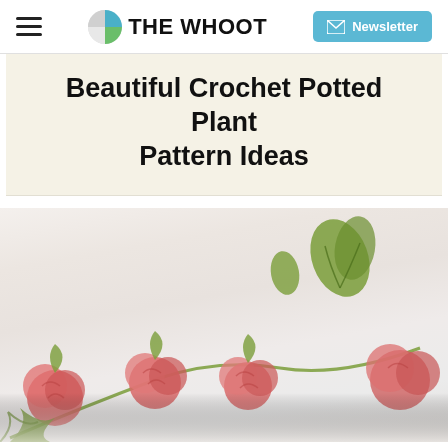THE WHOOT — Newsletter
Beautiful Crochet Potted Plant Pattern Ideas
[Figure (photo): Close-up photograph of crocheted strawberry plants with pink/red crocheted roses or berries connected by green yarn stems and green crocheted leaves, on a light background.]